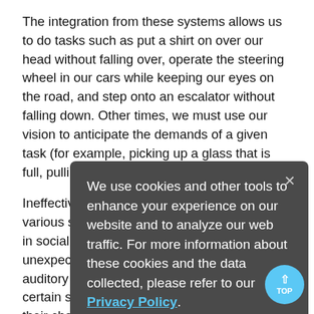The integration from these systems allows us to do tasks such as put a shirt on over our head without falling over, operate the steering wheel in our cars while keeping our eyes on the road, and step onto an escalator without falling down. Other times, we must use our vision to anticipate the demands of a given task (for example, picking up a glass that is full, pulling open a heavy door).
Ineffective processing and integration from our various sensory systems can lead to difficulty in social situations, frequent avoidance, or unexpected. Children who have difficulty with auditory processing might be too sensitive to certain sounds, appear clumsy, and fall out of their chairs. Children who have difficulty with tactile processing, might over-respond to "normal" social touch or withdraw from play activities because they don't like the feeling of paint on their hands or
[Figure (screenshot): Cookie consent overlay with dark grey background showing text: 'We use cookies and other tools to enhance your experience on our website and to analyze our web traffic. For more information about these cookies and the data collected, please refer to our Privacy Policy.' with a close (×) button and a cyan 'TOP' scroll-to-top button.]